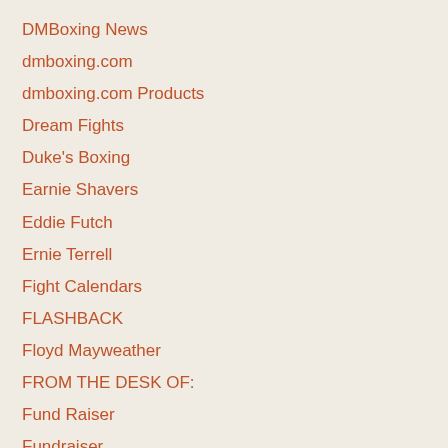DMBoxing News
dmboxing.com
dmboxing.com Products
Dream Fights
Duke's Boxing
Earnie Shavers
Eddie Futch
Ernie Terrell
Fight Calendars
FLASHBACK
Floyd Mayweather
FROM THE DESK OF:
Fund Raiser
Fundraiser
Gathering Of Angels